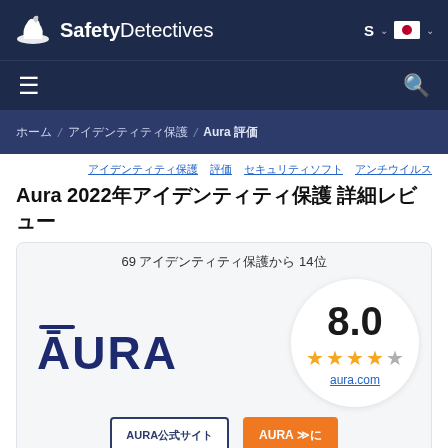[Figure (logo): Safety Detectives logo with detective hat icon and brand name in white on dark navy background]
SafetyDetectives — S ∨  🇯🇵 ∨
≡                                                          🔍
ホーム / アイデンティティ保護 / Aura 評価
アイデンティティ保護  評価  セキュリティソフト  アンチウイルス
Aura 2022年アイデンティティ保護 詳細レビュー
69 アイデンティティ保護から 14位
[Figure (logo): AURA logo in dark navy blue with overline accent]
8.0 — 4 stars out of 5
aura.com
AURAレビューを見る  |  AURA ≫に
AURA公式サイト  |  AURA ≫行